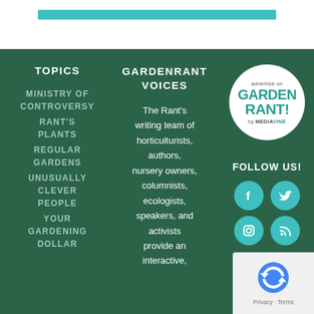[Figure (other): Teal decorative stripe at top of page]
TOPICS
MINISTRY OF CONTROVERSY
RANT'S PLANTS
REGULAR GARDENS
UNUSUALLY CLEVER PEOPLE
YOUR GARDENING DOLLAR
GARDENRANT VOICES
The Rant's writing team of horticulturists, authors, nursery owners, columnists, ecologists, speakers, and activists provide an interactive,
[Figure (logo): Advertise on Garden Rant by Mediavine circular badge]
FOLLOW US!
[Figure (other): Social media icons: Facebook, Twitter, Instagram, RSS feed]
[Figure (other): Google reCAPTCHA Privacy Terms overlay]